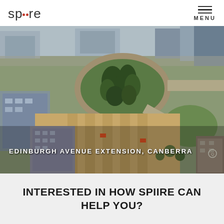spiire
[Figure (photo): Aerial view of Edinburgh Avenue Extension construction site in Canberra, showing road construction works, surrounding urban buildings, a circular roundabout with trees, and green parkland]
EDINBURGH AVENUE EXTENSION, CANBERRA
INTERESTED IN HOW SPIIRE CAN HELP YOU?